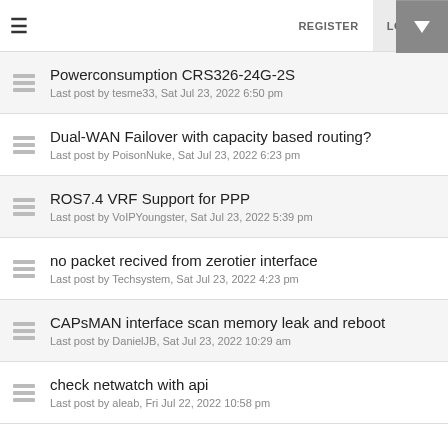≡   REGISTER   LOGIN
Powerconsumption CRS326-24G-2S
Last post by tesme33, Sat Jul 23, 2022 6:50 pm
Dual-WAN Failover with capacity based routing?
Last post by PoisonNuke, Sat Jul 23, 2022 6:23 pm
ROS7.4 VRF Support for PPP
Last post by VoIPYoungster, Sat Jul 23, 2022 5:39 pm
no packet recived from zerotier interface
Last post by Techsystem, Sat Jul 23, 2022 4:23 pm
CAPsMAN interface scan memory leak and reboot
Last post by DanielJB, Sat Jul 23, 2022 10:29 am
check netwatch with api
Last post by aleab, Fri Jul 22, 2022 10:58 pm